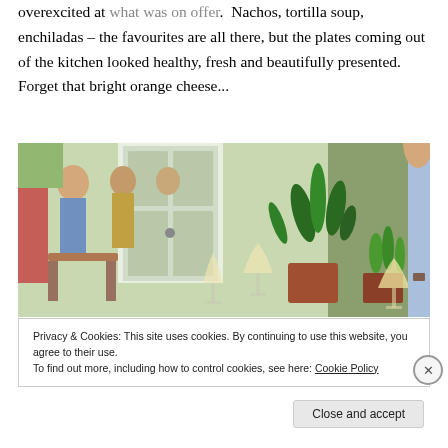overexcited at what was on offer. Nachos, tortilla soup, enchiladas – the favourites are all there, but the plates coming out of the kitchen looked healthy, fresh and beautifully presented. Forget that bright orange cheese...
[Figure (photo): Outdoor restaurant scene with people dining, white door, green potted herbs and plants, two glasses of white wine on a table, person in blue shirt on the right]
Privacy & Cookies: This site uses cookies. By continuing to use this website, you agree to their use. To find out more, including how to control cookies, see here: Cookie Policy